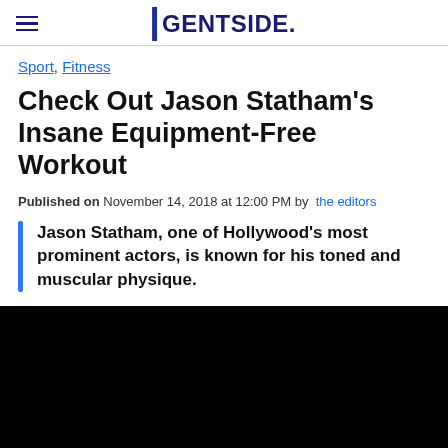GENTSIDE.
Sport, Fitness
Check Out Jason Statham's Insane Equipment-Free Workout
Published on November 14, 2018 at 12:00 PM by the editors
Jason Statham, one of Hollywood's most prominent actors, is known for his toned and muscular physique.
[Figure (photo): Black image/video thumbnail placeholder]